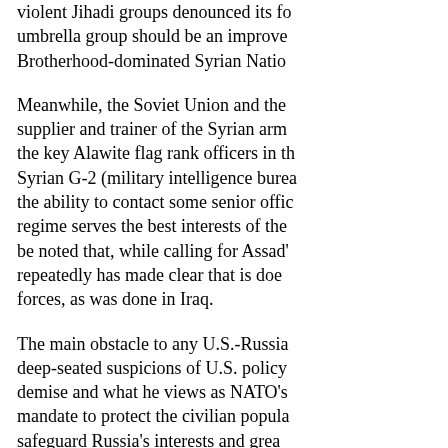violent Jihadi groups denounced its fo... umbrella group should be an improve... Brotherhood-dominated Syrian Natio...
Meanwhile, the Soviet Union and the... supplier and trainer of the Syrian arm... the key Alawite flag rank officers in th... Syrian G-2 (military intelligence burea... the ability to contact some senior offic... regime serves the best interests of the... be noted that, while calling for Assad'... repeatedly has made clear that is doe... forces, as was done in Iraq.
The main obstacle to any U.S.-Russia... deep-seated suspicions of U.S. policy... demise and what he views as NATO's... mandate to protect the civilian popula... safeguard Russia's interests and grea... precedent of foreign intervention in th... (think Chechnaya) and believes that t... intent on establishing radical Islamic r... (delusional). Until now, some U.S. offi... to let Syria go down in flames rather t... community to broker a transition away...
With the Assad regime reeling from its...